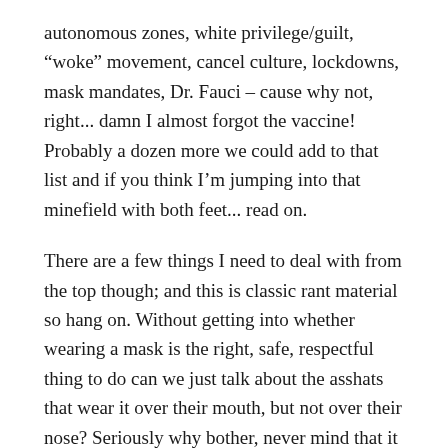autonomous zones, white privilege/guilt, “woke” movement, cancel culture, lockdowns, mask mandates, Dr. Fauci – cause why not, right... damn I almost forgot the vaccine! Probably a dozen more we could add to that list and if you think I’m jumping into that minefield with both feet... read on.
There are a few things I need to deal with from the top though; and this is classic rant material so hang on. Without getting into whether wearing a mask is the right, safe, respectful thing to do can we just talk about the asshats that wear it over their mouth, but not over their nose? Seriously why bother, never mind that it looks ridiculous, this kind of foolishness just irritates me. If you are a Covid non-believer that